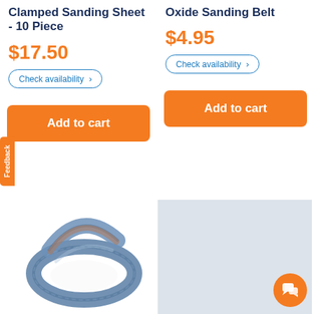Clamped Sanding Sheet - 10 Piece
$17.50
Check availability >
Add to cart
Oxide Sanding Belt
$4.95
Check availability >
Add to cart
[Figure (photo): Blue sanding belt coiled in a loop]
[Figure (photo): Light gray placeholder image for product]